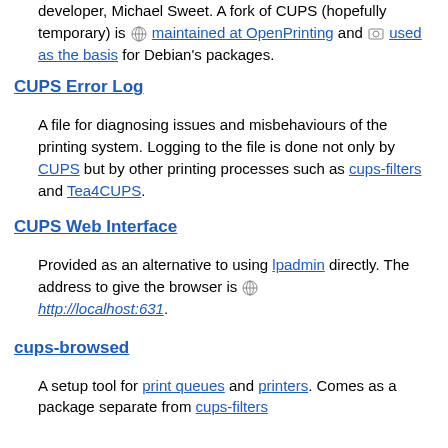developer, Michael Sweet. A fork of CUPS (hopefully temporary) is maintained at OpenPrinting and used as the basis for Debian's packages.
CUPS Error Log
A file for diagnosing issues and misbehaviours of the printing system. Logging to the file is done not only by CUPS but by other printing processes such as cups-filters and Tea4CUPS.
CUPS Web Interface
Provided as an alternative to using lpadmin directly. The address to give the browser is http://localhost:631.
cups-browsed
A setup tool for print queues and printers. Comes as a package separate from cups-filters